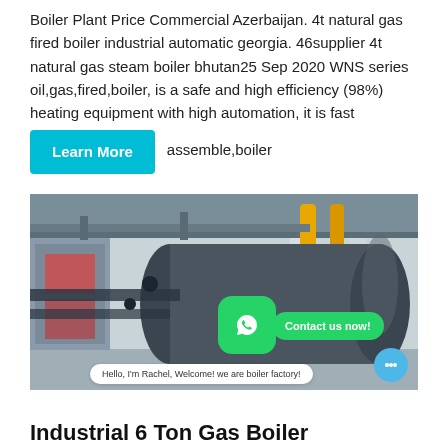Boiler Plant Price Commercial Azerbaijan. 4t natural gas fired boiler industrial automatic georgia. 46supplier 4t natural gas steam boiler bhutan25 Sep 2020 WNS series oil,gas,fired,boiler, is a safe and high efficiency (98%) heating equipment with high automation, it is fast assemble,boiler
[Figure (photo): Industrial gas boiler photograph showing a large cylindrical boiler with yellow pipes in a factory setting]
Hello, I'm Rachel, Welcome! we are boiler factory!
Industrial 6 Ton Gas Boiler